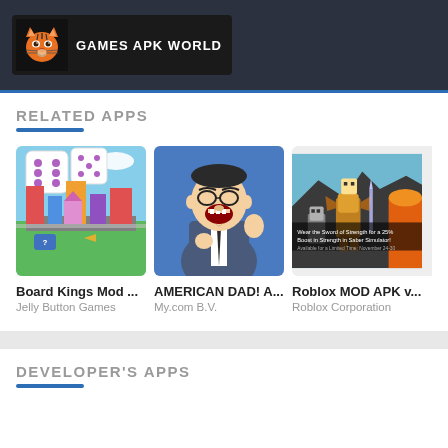[Figure (logo): Games APK World logo with orange tiger mascot on dark background]
RELATED APPS
[Figure (screenshot): Board Kings Mod - dice board game with colorful city buildings]
Board Kings Mod ...
Jelly Button Games
[Figure (screenshot): AMERICAN DAD! A... - animated character in suit]
AMERICAN DAD! A...
My.com B.V.
[Figure (screenshot): Roblox MOD APK v... - game characters with sword of strength promotional text]
Roblox MOD APK v...
Roblox Corporation
DEVELOPER'S APPS